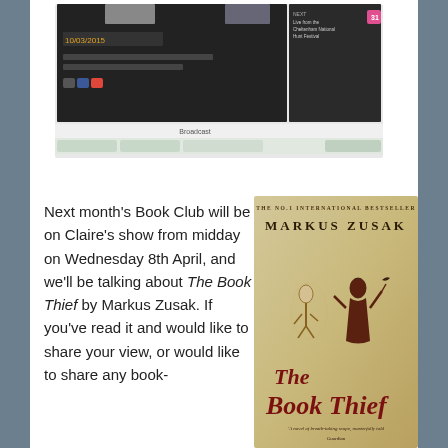[Figure (screenshot): Screenshot of a BBC Radio broadcast webpage showing date 10/03/2015 with social media buttons and a browser bar below labeled 'Broadcast']
Next month's Book Club will be on Claire's show from midday on Wednesday 8th April, and we'll be talking about The Book Thief by Markus Zusak. If you've read it and would like to share your view, or would like to share any book-
[Figure (photo): Book cover of 'The Book Thief' by Markus Zusak. The No.1 International Bestseller. Features an illustrated image of two figures dancing — a young girl and a dark-robed figure. The title 'The Book Thief' is written in decorative script. A quote reads: 'A novel of breath-taking scope, masterfully told — Guardian']